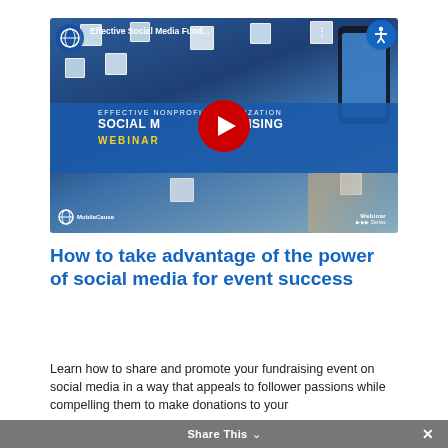[Figure (screenshot): YouTube video thumbnail for 'Effective Social Media Fund...' webinar by MobileCause, showing social media profile photos on a blue background with a red YouTube play button. Text reads: EFFECTIVE NONPROFIT ORGANIZATION SOCIAL MEDIA FUNDRAISING WEBINAR. Accessibility icon in top right corner.]
How to take advantage of the power of social media for event success
Learn how to share and promote your fundraising event on social media in a way that appeals to follower passions while compelling them to make donations to your
Share This ∨  ×